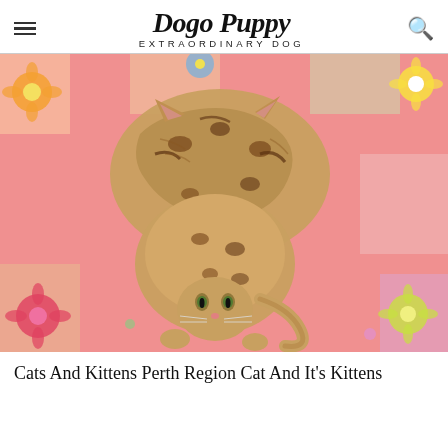Dogo Puppy EXTRAORDINARY DOG
[Figure (photo): Two Bengal cats curled together on a colorful floral fabric background, viewed from above, forming a heart-like shape with their bodies]
Cats And Kittens Perth Region Cat And It's Kittens